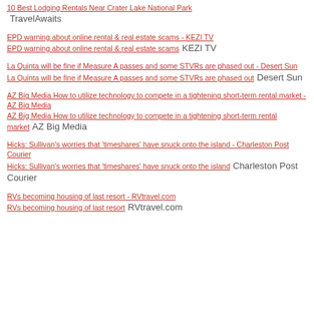10 Best Lodging Rentals Near Crater Lake National Park   TravelAwaits
EPD warning about online rental & real estate scams - KEZI TV
EPD warning about online rental & real estate scams   KEZI TV
La Quinta will be fine if Measure A passes and some STVRs are phased out - Desert Sun
La Quinta will be fine if Measure A passes and some STVRs are phased out   Desert Sun
AZ Big Media How to utilize technology to compete in a tightening short-term rental market - AZ Big Media
AZ Big Media How to utilize technology to compete in a tightening short-term rental market   AZ Big Media
Hicks: Sullivan's worries that 'timeshares' have snuck onto the island - Charleston Post Courier
Hicks: Sullivan's worries that 'timeshares' have snuck onto the island   Charleston Post Courier
RVs becoming housing of last resort - RVtravel.com
RVs becoming housing of last resort   RVtravel.com